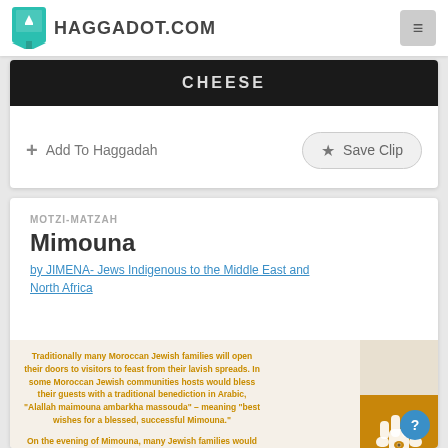HAGGADOT.COM
[Figure (screenshot): Partial image with dark background showing text 'CHEESE' with Add To Haggadah and Save Clip buttons]
MOTZI-MATZAH
Mimouna
by JIMENA- Jews Indigenous to the Middle East and North Africa
Traditionally many Moroccan Jewish families will open their doors to visitors to feast from their lavish spreads. In some Moroccan Jewish communities hosts would bless their guests with a traditional benediction in Arabic, "Alallah maimouna ambarkha massouda" – meaning "best wishes for a blessed, successful Mimouna."
On the evening of Mimouna, many Jewish families would visit the home of their rabbi to receive the Priestly Benediction and then travel on to the homes of dear relatives. In Morocco, it was also common for Jewish people to draw water from wells or to visit the beach on the day of Mimouna.
The custom of Mimouna has become extremely popular in Israel with people celebrating in parks or outdoors with BBQs and music. It has become so commonplace in Israel that mulukhya are now locally considered to be common...